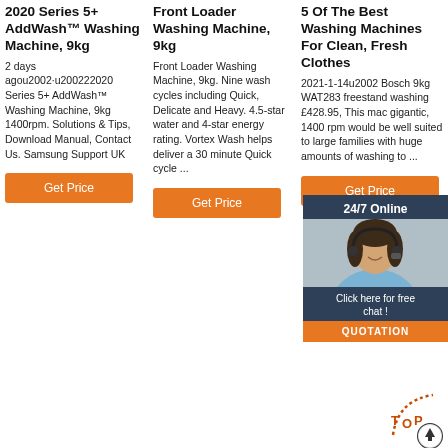2020 Series 5+ AddWash™ Washing Machine, 9kg
2 days agou2002·u200222020 Series 5+ AddWash™ Washing Machine, 9kg 1400rpm. Solutions & Tips, Download Manual, Contact Us. Samsung Support UK
Get Price
Front Loader Washing Machine, 9kg
Front Loader Washing Machine, 9kg. Nine wash cycles including Quick, Delicate and Heavy. 4.5-star water and 4-star energy rating. Vortex Wash helps deliver a 30 minute Quick cycle ...
Get Price
5 Of The Best Washing Machines For Clean, Fresh Clothes
2021-1-14u2002 Bosch 9kg WAT283 freestanding washing £428.95, This machine gigantic, 1400 rpm would be well suited to large families with huge amounts of washing to ...
Get Price
[Figure (illustration): 24/7 Online chat overlay with woman customer service representative, 'Click here for free chat!' button, and QUOTATION orange button]